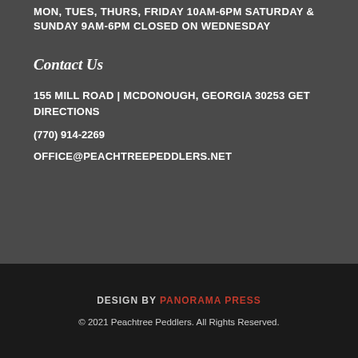MON, TUES, THURS, FRIDAY 10AM-6PM SATURDAY & SUNDAY 9AM-6PM CLOSED ON WEDNESDAY
Contact Us
155 MILL ROAD | MCDONOUGH, GEORGIA 30253 GET DIRECTIONS
(770) 914-2269
OFFICE@PEACHTREEPEDDLERS.NET
DESIGN BY PANORAMA PRESS
© 2021 Peachtree Peddlers. All Rights Reserved.